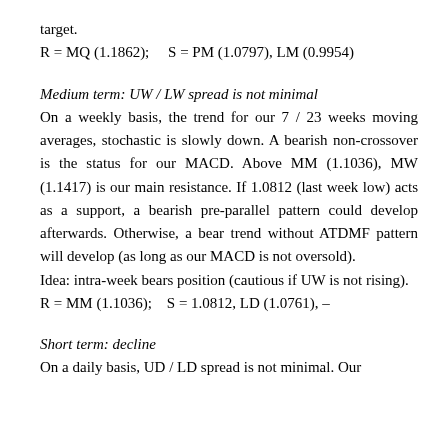target.
Medium term: UW / LW spread is not minimal
On a weekly basis, the trend for our 7 / 23 weeks moving averages, stochastic is slowly down. A bearish non-crossover is the status for our MACD. Above MM (1.1036), MW (1.1417) is our main resistance. If 1.0812 (last week low) acts as a support, a bearish pre-parallel pattern could develop afterwards. Otherwise, a bear trend without ATDMF pattern will develop (as long as our MACD is not oversold).
Idea: intra-week bears position (cautious if UW is not rising).
Short term: decline
On a daily basis, UD / LD spread is not minimal. Our indicators are already below MM (1.1036). It is current t...